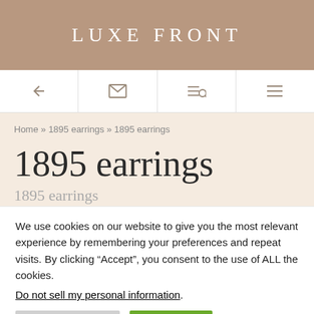LUXE FRONT
[Figure (screenshot): Navigation bar with back arrow, email icon, search icon, and hamburger menu icon]
Home » 1895 earrings » 1895 earrings
1895 earrings
1895 earrings
We use cookies on our website to give you the most relevant experience by remembering your preferences and repeat visits. By clicking “Accept”, you consent to the use of ALL the cookies.
Do not sell my personal information.
Cookie Settings   Accept